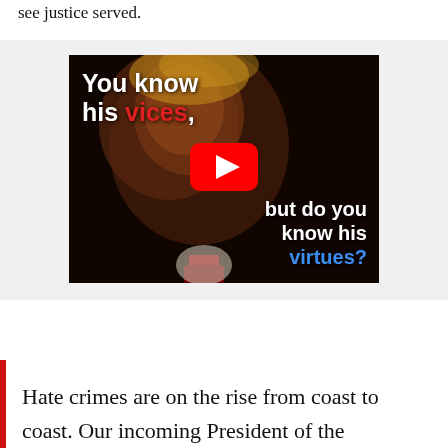see justice served.
[Figure (screenshot): YouTube video thumbnail with a dark image of a person in profile. Text overlay reads: 'You know his vices,' (with 'vices' in red) 'but do you know his virtues?' (with 'virtues' in blue). A YouTube play button is centered on the image.]
Hate crimes are on the rise from coast to coast. Our incoming President of the